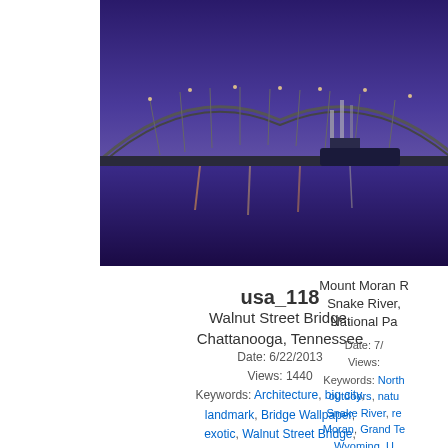[Figure (photo): Partially visible mountain/lake reflection photo at top right]
river
Mount Moran R Snake River, National Pa
Date: 7/... Views: ... Keywords: North... outdoors, natu... Snake River, re... Moran, Grand Te... Wyoming, U... Landforms, Land... Natural world, ... Travel destinatio... Vaca...
[Figure (photo): Walnut Street Bridge, Chattanooga, Tennessee at dusk with purple/blue lighting and reflection in river]
usa_118
Walnut Street Bridge, Chattanooga, Tennessee
Date: 6/22/2013
Views: 1440
Keywords: Architecture, big city, landmark, Bridge Wallpaper, exotic, Walnut Street Bridge, Chattanooga, Tennessee, United States, North America, USA, scenic, outdoors, reflection, dusk
[Figure (other): 5-star rating widget (empty stars)]
0 votes
[Figure (other): 5-star rating widget (empty stars) right column]
0 v